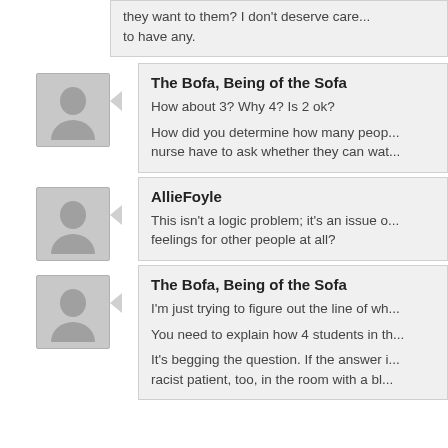they want to them? I don't deserve care... to have any.
The Bofa, Being of the Sofa
How about 3? Why 4? Is 2 ok?
How did you determine how many peop... nurse have to ask whether they can wat...
AllieFoyle
This isn't a logic problem; it's an issue o... feelings for other people at all?
The Bofa, Being of the Sofa
I'm just trying to figure out the line of wh...
You need to explain how 4 students in th...
It's begging the question. If the answer i... racist patient, too, in the room with a bl...